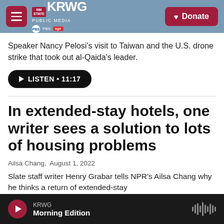KRWG PUBLIC MEDIA | NM STATE | PBS | NPR | Donate
Speaker Nancy Pelosi's visit to Taiwan and the U.S. drone strike that took out al-Qaida's leader.
LISTEN • 11:17
In extended-stay hotels, one writer sees a solution to lots of housing problems
Ailsa Chang,  August 1, 2022
Slate staff writer Henry Grabar tells NPR's Ailsa Chang why he thinks a return of extended-stay
KRWG  Morning Edition